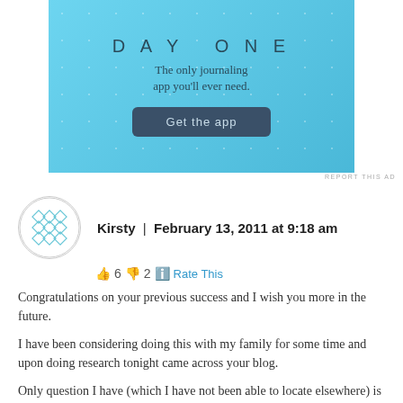[Figure (screenshot): Day One journaling app advertisement banner with light blue background, sparkle decoration, 'DAY ONE' title, subtitle 'The only journaling app you'll ever need.' and a dark 'Get the app' button]
REPORT THIS AD
Kirsty | February 13, 2011 at 9:18 am
👍 6 👎 2 ℹ️ Rate This
Congratulations on your previous success and I wish you more in the future.

I have been considering doing this with my family for some time and upon doing research tonight came across your blog.

Only question I have (which I have not been able to locate elsewhere) is in relation to the 16 points that